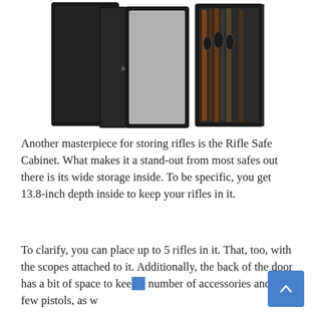[Figure (photo): Three gun safe cabinets shown side by side: a closed black safe on the left, an open safe with gray fabric interior in the middle, and an open safe filled with rifles and scopes on the right.]
Another masterpiece for storing rifles is the Rifle Safe Cabinet. What makes it a stand-out from most safes out there is its wide storage inside. To be specific, you get 13.8-inch depth inside to keep your rifles in it.
To clarify, you can place up to 5 rifles in it. That, too, with the scopes attached to it. Additionally, the back of the door has a bit of space to keep a number of accessories and a few pistols, as w…